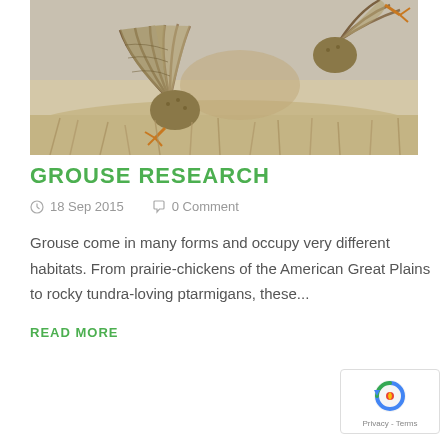[Figure (photo): Two grouse birds facing each other on dry grassland, wings spread, one showing tail feathers fanned out, taken in close-up wildlife photography style with blurred background]
GROUSE RESEARCH
18 Sep 2015   0 Comment
Grouse come in many forms and occupy very different habitats. From prairie-chickens of the American Great Plains to rocky tundra-loving ptarmigans, these...
READ MORE